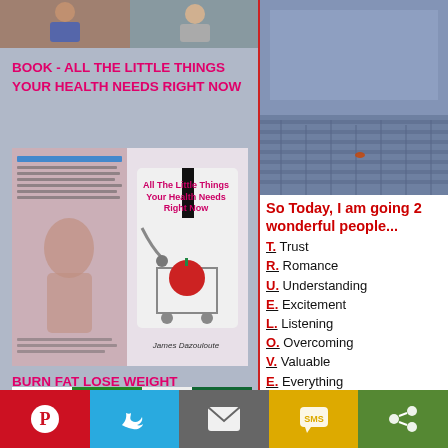[Figure (photo): Two small photos at the top of the left column: a person and outdoor scene]
BOOK - ALL THE LITTLE THINGS YOUR HEALTH NEEDS RIGHT NOW
[Figure (photo): Book cover for 'All The Little Things Your Health Needs Right Now' by James Dazouloute, showing a doctor with apple in shopping cart and a body image]
BURN FAT LOSE WEIGHT
[Figure (photo): Garcinia Cambogia Select advertisement banner - Burn Fat Without Changing, Free Bottle Offer, Learn More]
[Figure (photo): Outdoor photo on right side - dark stone/brick pavement with water]
So Today, I am going 2 wonderful people...
T. Trust
R. Romance
U. Understanding
E. Excitement
L. Listening
O. Overcoming
V. Valuable
E. Everything
[Figure (infographic): Social share bar with Pinterest, Twitter, Email, SMS, and Share buttons]